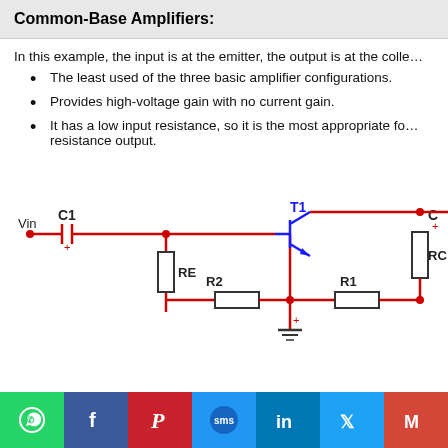Common-Base Amplifiers:
In this example, the input is at the emitter, the output is at the collector
The least used of the three basic amplifier configurations.
Provides high-voltage gain with no current gain.
It has a low input resistance, so it is the most appropriate for resistance output.
[Figure (circuit-diagram): Common-base amplifier circuit diagram showing Vin input, C1 capacitor, RE and RC resistors, R1 and R2 resistors forming voltage divider, T1 NPN transistor, and output capacitor C. Components connected with red wires on red rails.]
Social share bar with WhatsApp, Facebook, Pinterest, SMS, LinkedIn, Twitter, Gmail